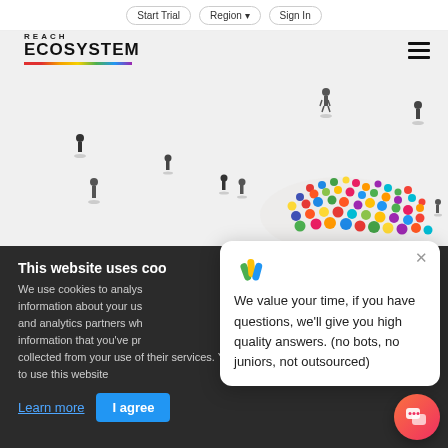Start Trial  Region  Sign In
[Figure (logo): REACH ECOSYSTEM logo with colorful underline bar]
[Figure (photo): Aerial view of a crowd of colorful people gathering, with a few isolated individuals walking nearby, on a white background]
This website uses coo
We use cookies to analys information about your us and analytics partners wh information that you've pr collected from your use of their services. You consent to our cookies if you continue to use this website
We value your time, if you have questions, we'll give you high quality answers. (no bots, no juniors, not outsourced)
Learn more
I agree